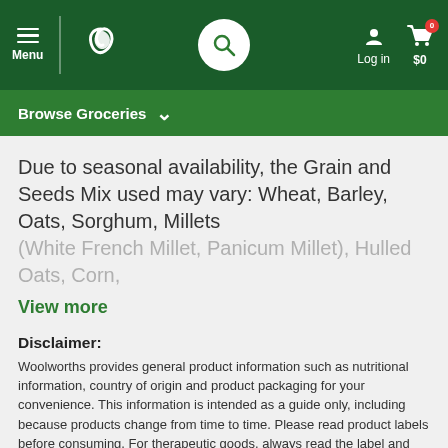Menu | Woolworths | Search | Log in | $0
Browse Groceries
Due to seasonal availability, the Grain and Seeds Mix used may vary: Wheat, Barley, Oats, Sorghum, Millets (White French Millet, Panicum Millet), Hulled Oats, Corn,
View more
Disclaimer:
Woolworths provides general product information such as nutritional information, country of origin and product packaging for your convenience. This information is intended as a guide only, including because products change from time to time. Please read product labels before consuming. For therapeutic goods, always read the label and follow the directions for use on pack. If you require specific information to assist with your purchasing decision, we recommend that you contact the manufacturer via the contact details on the packaging or call us on 1300 767 969. Product ratings and reviews are taken from various sources including bunch.woolworths.com.au